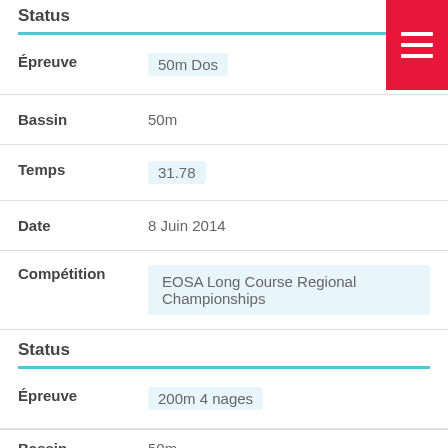Status
| Field | Value |
| --- | --- |
| Épreuve | 50m Dos |
| Bassin | 50m |
| Temps | 31.78 |
| Date | 8 Juin 2014 |
| Compétition | EOSA Long Course Regional Championships |
Status
| Field | Value |
| --- | --- |
| Épreuve | 200m 4 nages |
| Bassin | 50m |